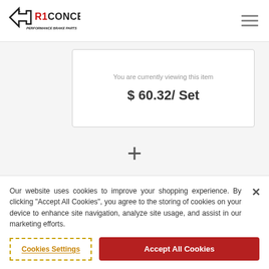[Figure (logo): R1 Concepts Performance Brake Parts logo with stylized arrow/brake icon]
You are currently viewing this item
$ 60.32/ Set
+
Our website uses cookies to improve your shopping experience. By clicking "Accept All Cookies", you agree to the storing of cookies on your device to enhance site navigation, analyze site usage, and assist in our marketing efforts.
Cookies Settings
Accept All Cookies